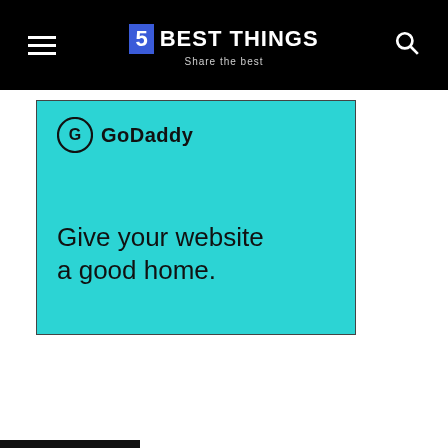5 BEST THINGS – Share the best
[Figure (illustration): GoDaddy advertisement banner on cyan/turquoise background with GoDaddy logo and tagline 'Give your website a good home.']